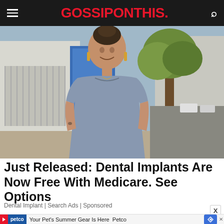GOSSIPONTHIS.
[Figure (photo): A smiling woman with dark hair in an updo, wearing a fitted grey short-sleeve dress, standing on a sidewalk near a tree and building with blue panels.]
Just Released: Dental Implants Are Now Free With Medicare. See Options
Dental Implant | Search Ads | Sponsored
Your Pet's Summer Gear Is Here Petco